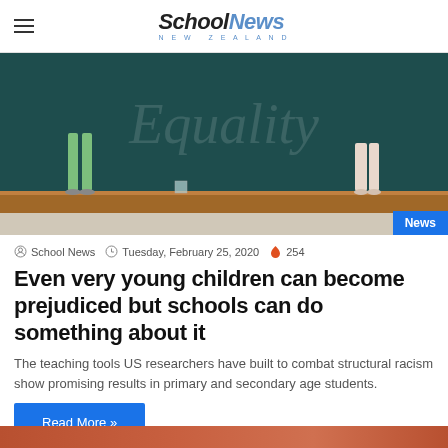School News NEW ZEALAND
[Figure (photo): Photo of two children standing on a wooden bench in front of a dark teal chalkboard with 'Equality' written in chalk. One child on the left wears green pants, one on the right wears a light pink top. A 'News' badge appears in the bottom-right corner of the image.]
School News   Tuesday, February 25, 2020   254
Even very young children can become prejudiced but schools can do something about it
The teaching tools US researchers have built to combat structural racism show promising results in primary and secondary age students.
Read More »